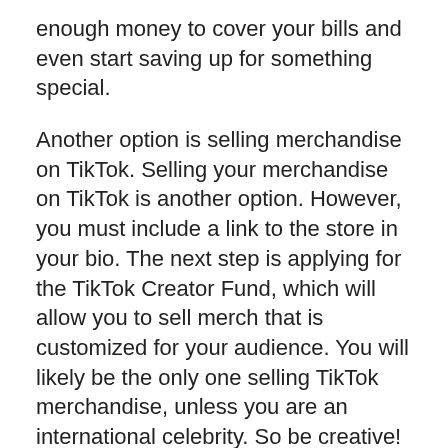enough money to cover your bills and even start saving up for something special.
Another option is selling merchandise on TikTok. Selling your merchandise on TikTok is another option. However, you must include a link to the store in your bio. The next step is applying for the TikTok Creator Fund, which will allow you to sell merch that is customized for your audience. You will likely be the only one selling TikTok merchandise, unless you are an international celebrity. So be creative!
Can You Get Money Off Of Tiktok
Get Your Money Tiktok
Tiktok Money Check
Igface Tiktok Money Withdrawal
Hands Free Cordless Breast Pump